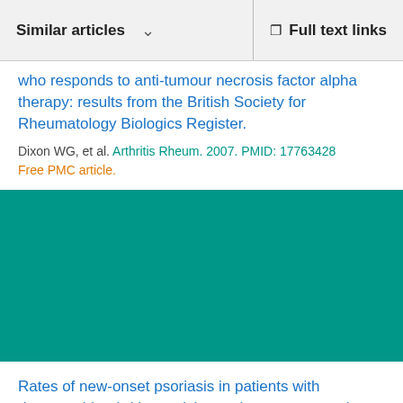Similar articles | Full text links
who responds to anti-tumour necrosis factor alpha therapy: results from the British Society for Rheumatology Biologics Register.
Dixon WG, et al. Arthritis Rheum. 2007. PMID: 17763428
Free PMC article.
Rates of new-onset psoriasis in patients with rheumatoid arthritis receiving anti-tumour necrosis factor alpha therapy: results from the British Society for Rheumatology Biologics Register.
Harrison MJ, et al. Ann Rheum Dis. 2009. PMID: 18385277
Free PMC article.
The safety of anti-tumour necrosis factor